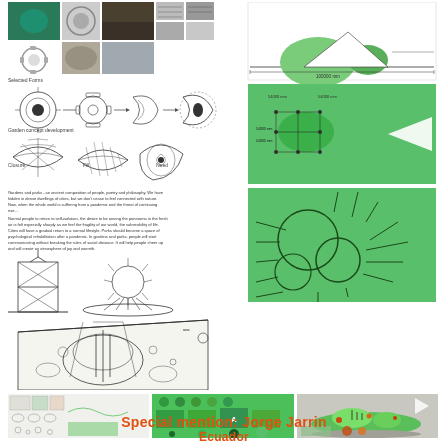[Figure (illustration): Architecture/landscape design portfolio board showing reference photos of natural forms (fungi, gears, rocks, architectural grids), conceptual development sketches (organic shell/urchin forms), design development drawings showing closure/fill/need variations, written concept text about gardens and parks, structural sketches of pavilion forms, a large perspective sketch of park design, and green orthographic/plan diagrams showing spatial layout and circulation patterns.]
[Figure (illustration): Three panel bottom section: left panel shows small sketches and diagrams on white background; center panel shows green infographic with garden/park program elements; right panel shows 3D rendered model of the park design with green topography and scattered elements.]
Special mention: Jorge Jarrin
Ecuador